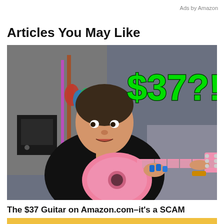Ads by Amazon
Articles You May Like
[Figure (photo): Man in black shirt playing a pink child-sized acoustic guitar, with guitars hanging on wall behind him, and large green text overlay reading '$37?!']
The $37 Guitar on Amazon.com–it's a SCAM
[Figure (photo): Partial bottom image showing yellow banner with text 'RADEMA' and label '(Guitar Tutorial)' on right side]